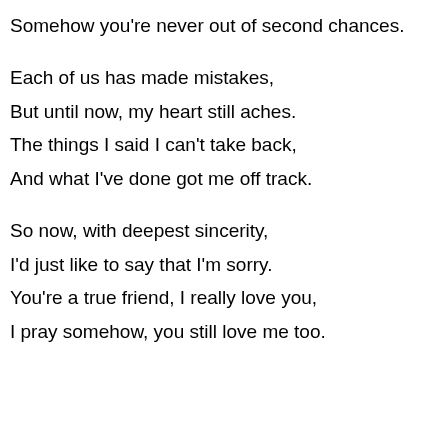Somehow you're never out of second chances.
Each of us has made mistakes,
But until now, my heart still aches.
The things I said I can't take back,
And what I've done got me off track.
So now, with deepest sincerity,
I'd just like to say that I'm sorry.
You're a true friend, I really love you,
I pray somehow, you still love me too.